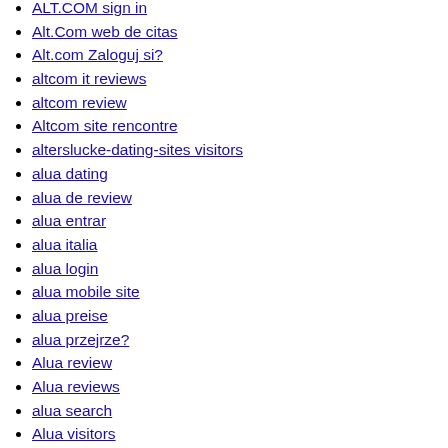ALT.COM sign in
Alt.Com web de citas
Alt.com Zaloguj si?
altcom it reviews
altcom review
Altcom site rencontre
alterslucke-dating-sites visitors
alua dating
alua de review
alua entrar
alua italia
alua login
alua mobile site
alua preise
alua przejrze?
Alua review
Alua reviews
alua search
Alua visitors
always approved payday loans
amarillo escort index
amarillo escort sites
amarillo what is an escort
amateurmatch bewertung